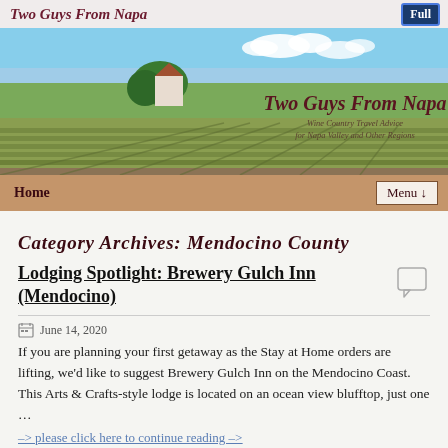Two Guys From Napa
[Figure (screenshot): Website banner with vineyard photo and site title 'Two Guys From Napa - Wine Country Travel Advice for Napa Valley and Other Regions']
Home   Menu ↓
Category Archives: Mendocino County
Lodging Spotlight: Brewery Gulch Inn (Mendocino)
June 14, 2020
If you are planning your first getaway as the Stay at Home orders are lifting, we'd like to suggest Brewery Gulch Inn on the Mendocino Coast. This Arts & Crafts-style lodge is located on an ocean view blufftop, just one …
–> please click here to continue reading –>